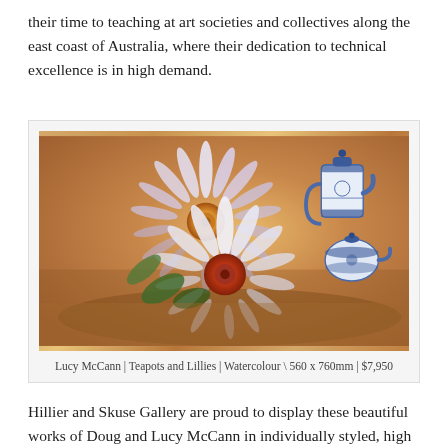their time to teaching at art societies and collectives along the east coast of Australia, where their dedication to technical excellence is in high demand.
[Figure (photo): Painting of water lilies and blue-and-white teapots on a warm amber/orange background. The flowers are large, white and pink/purple with orange centers. Two decorative blue and white ceramic teapots are visible in the upper right and lower center areas.]
Lucy McCann | Teapots and Lillies | Watercolour \ 560 x 760mm | $7,950
Hillier and Skuse Gallery are proud to display these beautiful works of Doug and Lucy McCann in individually styled, high